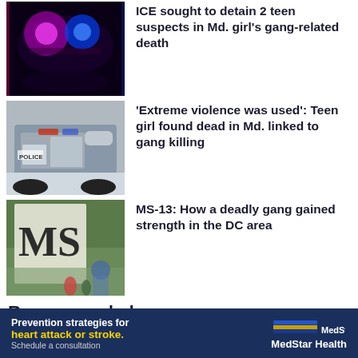[Figure (photo): Police lights flashing red and blue at night]
ICE sought to detain 2 teen suspects in Md. girl’s gang-related death
[Figure (photo): Police SUV vehicle with 'POLICE' written on side]
‘Extreme violence was used’: Teen girl found dead in Md. linked to gang killing
[Figure (photo): MS-13 graffiti on wall with children walking in front]
MS-13: How a deadly gang gained strength in the DC area
Recommended
[Figure (photo): Dark nighttime scene with police lights]
New
1 killed in Prince George’s Co.
[Figure (other): MedStar Health advertisement - Prevention strategies for heart attack or stroke. Schedule a consultation.]